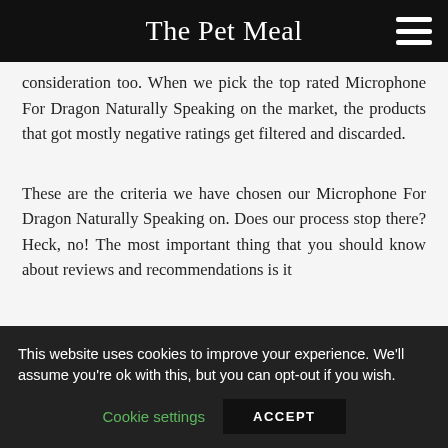The Pet Meal
consideration too. When we pick the top rated Microphone For Dragon Naturally Speaking on the market, the products that got mostly negative ratings get filtered and discarded.
These are the criteria we have chosen our Microphone For Dragon Naturally Speaking on. Does our process stop there? Heck, no! The most important thing that you should know about reviews and recommendations is it
This website uses cookies to improve your experience. We'll assume you're ok with this, but you can opt-out if you wish.
Cookie settings    ACCEPT